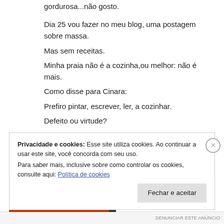gordurosa...não gosto.
Dia 25 vou fazer no meu blog, uma postagem sobre massa.
Mas sem receitas.
Minha praia não é a cozinha,ou melhor: não é mais.
Como disse para Cinara:
Prefiro pintar, escrever, ler, a cozinhar.
Defeito ou virtude?
Não consigo fazzer as duas coisas.
Privacidade e cookies: Esse site utiliza cookies. Ao continuar a usar este site, você concorda com seu uso.
Para saber mais, inclusive sobre como controlar os cookies, consulte aqui: Política de cookies
Fechar e aceitar